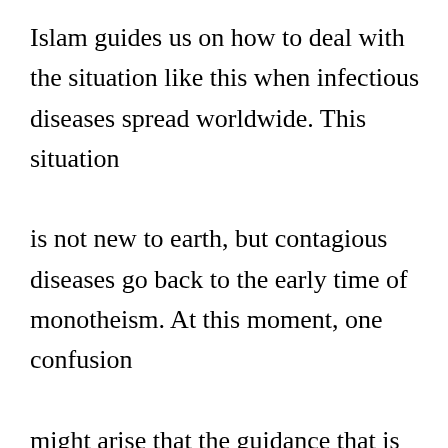Islam guides us on how to deal with the situation like this when infectious diseases spread worldwide. This situation is not new to earth, but contagious diseases go back to the early time of monotheism. At this moment, one confusion might arise that the guidance that is written thousands of years ago, how can it help us with modern problems? As Muslims, we have a strong belief, and we know that Quran has the guidance of all ages